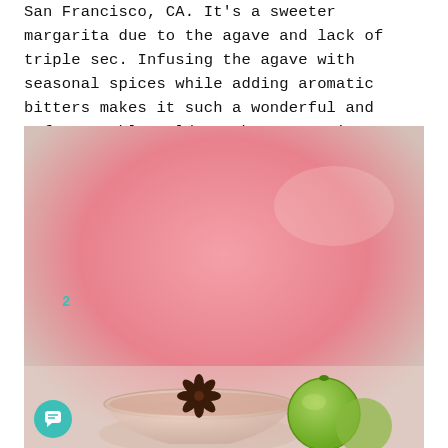San Francisco, CA. It's a sweeter margarita due to the agave and lack of triple sec. Infusing the agave with seasonal spices while adding aromatic bitters makes it such a wonderful and unforgettable cold-weather margarita option.
[Figure (photo): Photo of a margarita cocktail with a star anise garnish and lime on the rim, against a pink background. A chat button icon and page number 2 are overlaid.]